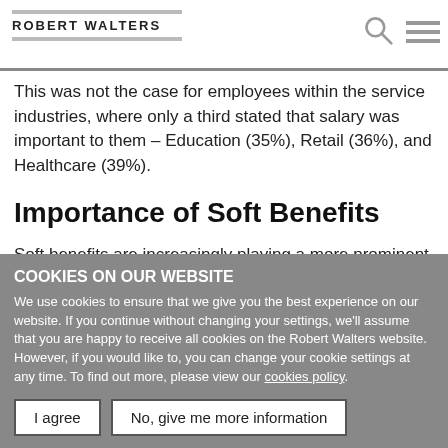ROBERT WALTERS
This was not the case for employees within the service industries, where only a third stated that salary was important to them – Education (35%), Retail (36%), and Healthcare (39%).
Importance of Soft Benefits
Soft benefits are increasingly playing a more prominent role in keeping employees happy, with many claiming that work-life balance (61%), flexible working hours (39%), and
COOKIES ON OUR WEBSITE
We use cookies to ensure that we give you the best experience on our website. If you continue without changing your settings, we'll assume that you are happy to receive all cookies on the Robert Walters website. However, if you would like to, you can change your cookie settings at any time. To find out more, please view our cookies policy.
I agree | No, give me more information